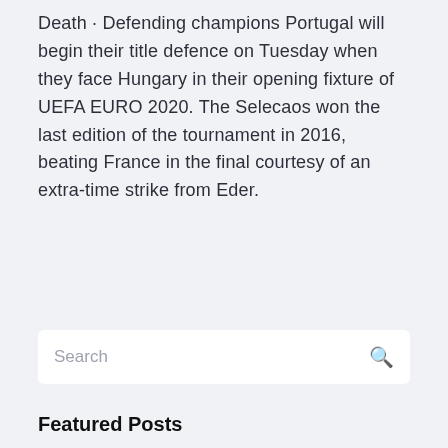Death · Defending champions Portugal will begin their title defence on Tuesday when they face Hungary in their opening fixture of UEFA EURO 2020. The Selecaos won the last edition of the tournament in 2016, beating France in the final courtesy of an extra-time strike from Eder.
Search
Featured Posts